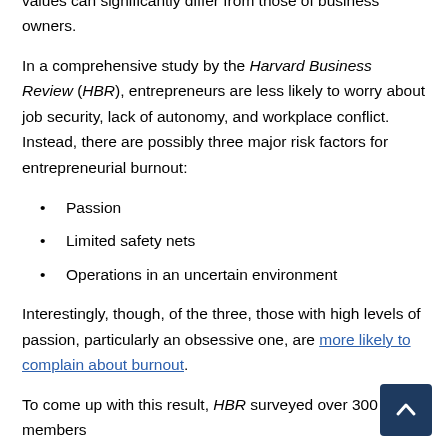burnout. But most revolve around employees, whose values can significantly differ from those of business owners.
In a comprehensive study by the Harvard Business Review (HBR), entrepreneurs are less likely to worry about job security, lack of autonomy, and workplace conflict. Instead, there are possibly three major risk factors for entrepreneurial burnout:
Passion
Limited safety nets
Operations in an uncertain environment
Interestingly, though, of the three, those with high levels of passion, particularly an obsessive one, are more likely to complain about burnout.
To come up with this result, HBR surveyed over 300 members